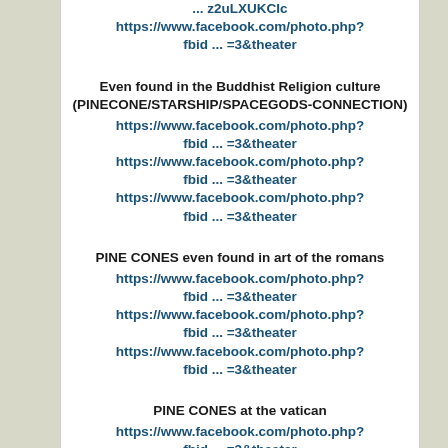... z2uLXUKCIc
https://www.facebook.com/photo.php?fbid ... =3&theater
Even found in the Buddhist Religion culture (PINECONE/STARSHIP/SPACEGODS-CONNECTION)
https://www.facebook.com/photo.php?fbid ... =3&theater
https://www.facebook.com/photo.php?fbid ... =3&theater
https://www.facebook.com/photo.php?fbid ... =3&theater
PINE CONES even found in art of the romans
https://www.facebook.com/photo.php?fbid ... =3&theater
https://www.facebook.com/photo.php?fbid ... =3&theater
https://www.facebook.com/photo.php?fbid ... =3&theater
PINE CONES at the vatican
https://www.facebook.com/photo.php?fbid ... =3&theater
https://www.facebook.com/photo.php?fbid ... =3&theater
https://www.facebook.com/photo.php?fbid ... =3&theater